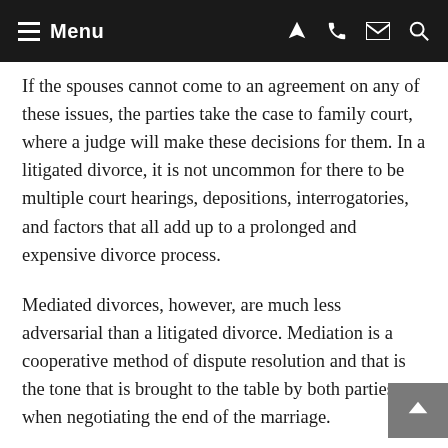Menu
If the spouses cannot come to an agreement on any of these issues, the parties take the case to family court, where a judge will make these decisions for them. In a litigated divorce, it is not uncommon for there to be multiple court hearings, depositions, interrogatories, and factors that all add up to a prolonged and expensive divorce process.
Mediated divorces, however, are much less adversarial than a litigated divorce. Mediation is a cooperative method of dispute resolution and that is the tone that is brought to the table by both parties when negotiating the end of the marriage.
In a mediated divorce, the couple works with a neutral third-party mediator who has been professionally trained to listen to both parties and help guide them through negotiations to